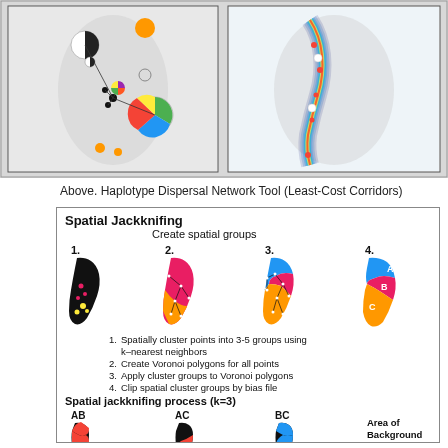[Figure (map): Two side-by-side maps showing haplotype dispersal network with pie charts and least-cost corridor heat map over a geographic region (Madagascar)]
Above. Haplotype Dispersal Network Tool (Least-Cost Corridors)
[Figure (infographic): Spatial Jackknifing diagram showing: Create spatial groups with 4 numbered maps (1. black map with colored dots, 2. magenta/orange Voronoi polygons, 3. blue/pink/orange Voronoi polygons, 4. labeled regions A/B/C); numbered steps 1-4 describing the process; Spatial jackknifing process (k=3) showing AB, AC, BC maps and Area of Background label]